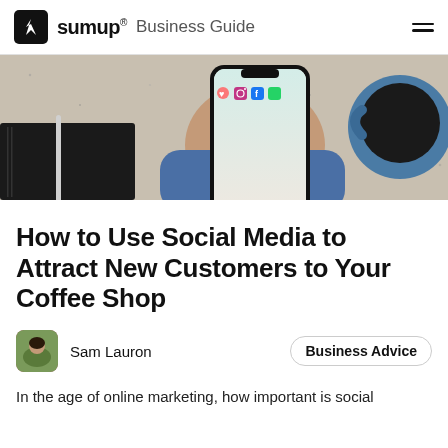sumup® Business Guide
[Figure (photo): Overhead view of a person in blue jeans holding a smartphone showing social media app icons, with a blue coffee mug and a notebook on a speckled surface]
How to Use Social Media to Attract New Customers to Your Coffee Shop
Sam Lauron
Business Advice
In the age of online marketing, how important is social